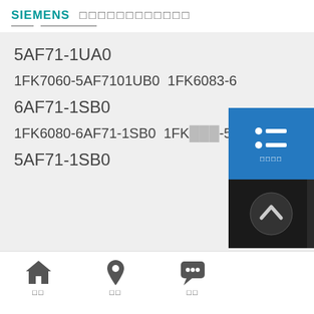SIEMENS [Japanese characters]
5AF71-1UA0
1FK7060-5AF7101UB0  1FK6083-6
6AF71-1SB0
1FK6080-6AF71-1SB0  1FK[...]-5
5AF71-1SB0
[Home icon] [Location icon] [Chat icon]